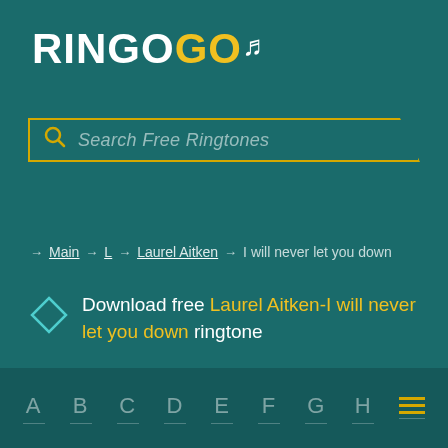RINGOGO
[Figure (screenshot): Search bar with yellow border and magnifying glass icon, placeholder text 'Search Free Ringtones']
→ Main → L → Laurel Aitken → I will never let you down
Download free Laurel Aitken-I will never let you down ringtone
A B C D E F G H ≡